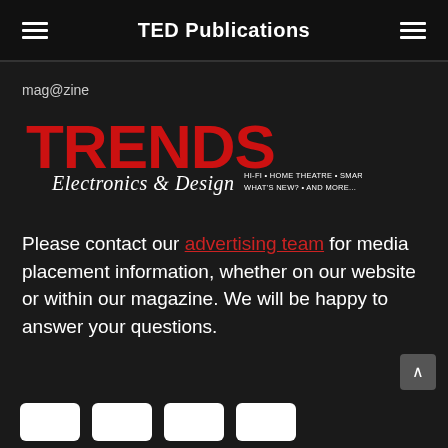TED Publications
mag@zine
[Figure (logo): TRENDS Electronics & Design magazine logo — bold red text 'TRENDS' with italic script 'Electronics & Design' below, and tagline 'HI-FI • HOME THEATRE • SMART HOME WHAT'S NEW? • AND MORE...' on the right]
Please contact our advertising team for media placement information, whether on our website or within our magazine. We will be happy to answer your questions.